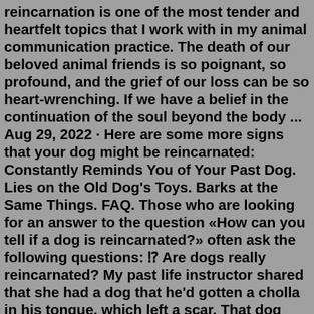reincarnation is one of the most tender and heartfelt topics that I work with in my animal communication practice. The death of our beloved animal friends is so poignant, so profound, and the grief of our loss can be so heart-wrenching. If we have a belief in the continuation of the soul beyond the body ... Aug 29, 2022 · Here are some more signs that your dog might be reincarnated: Constantly Reminds You of Your Past Dog. Lies on the Old Dog's Toys. Barks at the Same Things. FAQ. Those who are looking for an answer to the question «How can you tell if a dog is reincarnated?» often ask the following questions: ⁉ Are dogs really reincarnated? My past life instructor shared that she had a dog that he'd gotten a cholla in his tongue, which left a scar. That dog was reborn as her neighbor's dog, with the exact same mark on its tongue. When I first uncovered the link between animals that had past and the fact that they may reincarnate, it seemed very foreign to me, something I would ... Answer (1 of 9): Is my cat the reincarnation of my last dog? Reincarnation is part of a restoration